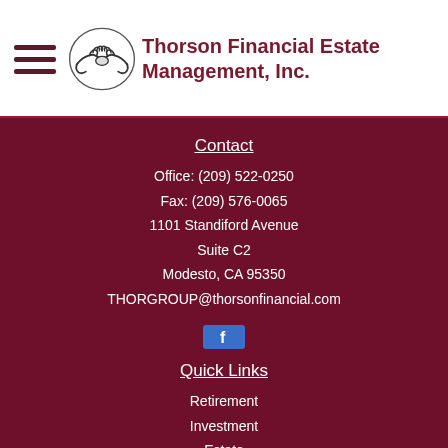Thorson Financial Estate Management, Inc.
Contact
Office: (209) 522-0250
Fax: (209) 576-0065
1101 Standiford Avenue
Suite C2
Modesto, CA 95350
THORGROUP@thorsonfinancial.com
[Figure (logo): Facebook icon button with white 'f' on blue background]
Quick Links
Retirement
Investment
Estate
Insurance
Tax